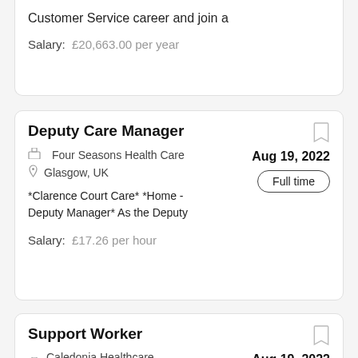Customer Service career and join a
Salary: £20,663.00 per year
Deputy Care Manager
Four Seasons Health Care
Glasgow, UK
Aug 19, 2022
Full time
*Clarence Court Care* *Home - Deputy Manager* As the Deputy
Salary: £17.26 per hour
Support Worker
Caledonia Healthcare Limited
Glasgow, UK
Aug 19, 2022
Full time